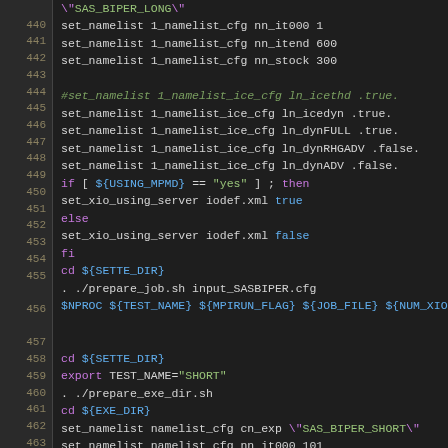[Figure (screenshot): Code editor screenshot showing shell script lines 440-469 with syntax highlighting. Dark background with line numbers. Code contains set_namelist commands, ice configuration, conditional logic, and variable references.]